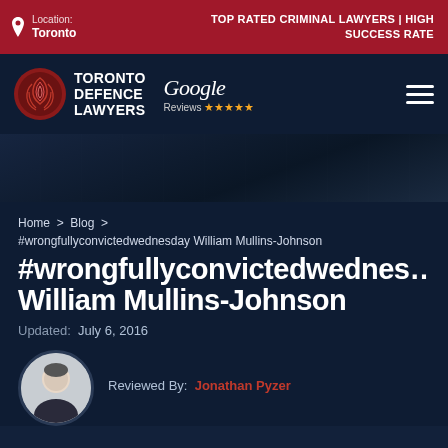Location: Toronto | TOP RATED CRIMINAL LAWYERS | HIGH SUCCESS RATE
[Figure (logo): Toronto Defence Lawyers logo with fingerprint icon, Google Reviews 5 stars, and hamburger menu]
[Figure (photo): Dark background hero image area]
Home > Blog > #wrongfullyconvictedwednesday William Mullins-Johnson
#wrongfullyconvictedwednesday William Mullins-Johnson
Updated: July 6, 2016
[Figure (photo): Circular headshot photo of Jonathan Pyzer, a man in a suit]
Reviewed By: Jonathan Pyzer